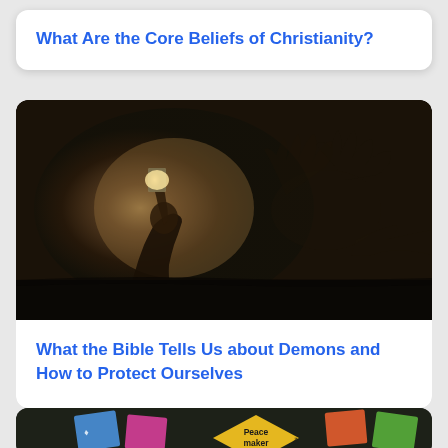What Are the Core Beliefs of Christianity?
[Figure (photo): Dark atmospheric photo of a person kneeling and holding up a glowing book (Bible) against a dark wall, with shadowy hand shapes projected on the wall behind them]
What the Bible Tells Us about Demons and How to Protect Ourselves
[Figure (photo): Partial view of a chalkboard with colorful sticky notes and a yellow diamond-shaped sign reading 'Peacemaker']